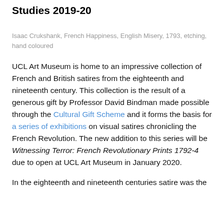Studies 2019-20
Isaac Crukshank, French Happiness, English Misery, 1793, etching, hand coloured
UCL Art Museum is home to an impressive collection of French and British satires from the eighteenth and nineteenth century. This collection is the result of a generous gift by Professor David Bindman made possible through the Cultural Gift Scheme and it forms the basis for a series of exhibitions on visual satires chronicling the French Revolution. The new addition to this series will be Witnessing Terror: French Revolutionary Prints 1792-4 due to open at UCL Art Museum in January 2020.
In the eighteenth and nineteenth centuries satire was the